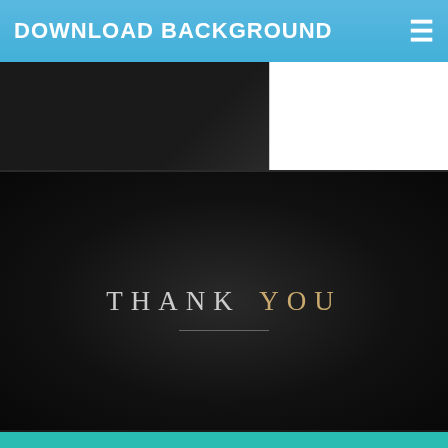DOWNLOAD BACKGROUND
[Figure (screenshot): Two thumbnail images side by side: left is a dark/black background thumbnail, right is a white/blank thumbnail]
[Figure (screenshot): A dark elegant PPT background slide with 'THANK YOU' text in the center, with THANK in light grey and YOU in golden color, with a thin underline]
Download Now
Template Latar Belakang Ppt Gaya Sederhana Hitam Elegan
Download 7500 Background Ppt Sederhana Terbaik